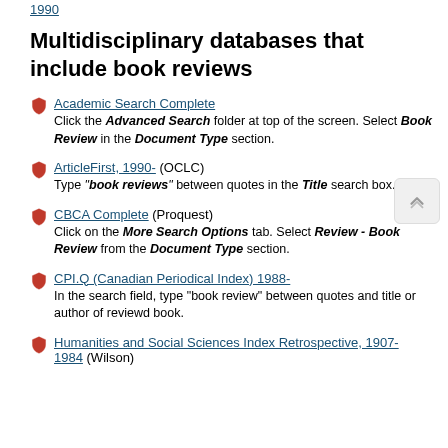1990
Multidisciplinary databases that include book reviews
Academic Search Complete — Click the Advanced Search folder at top of the screen. Select Book Review in the Document Type section.
ArticleFirst, 1990- (OCLC) — Type "book reviews" between quotes in the Title search box.
CBCA Complete (Proquest) — Click on the More Search Options tab. Select Review - Book Review from the Document Type section.
CPI.Q (Canadian Periodical Index) 1988- — In the search field, type "book review" between quotes and title or author of reviewd book.
Humanities and Social Sciences Index Retrospective, 1907-1984 (Wilson)